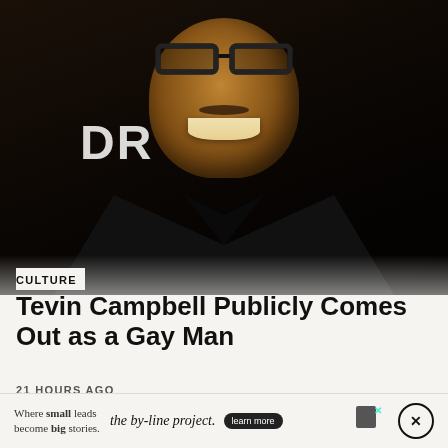[Figure (photo): A smiling Black man wearing rectangular black-framed glasses and a black suit jacket over a black shirt, photographed at an event with a dark background showing partial text 'DR__M']
CULTURE
Tevin Campbell Publicly Comes Out as a Gay Man
21 HOURS AGO
[Figure (advertisement): Advertisement for 'the by-line project' with tagline 'Where small leads become big stories.' and a 'learn more' button, with close/X icons]